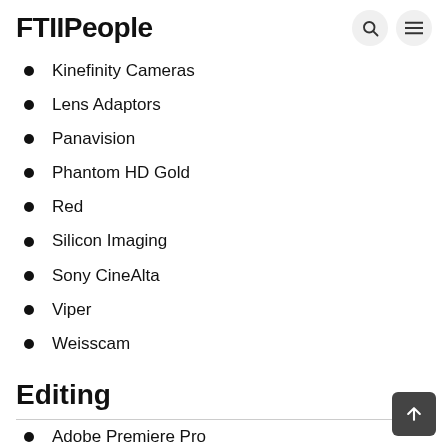FTIIPeople
Kinefinity Cameras
Lens Adaptors
Panavision
Phantom HD Gold
Red
Silicon Imaging
Sony CineAlta
Viper
Weisscam
Editing
Adobe Premiere Pro